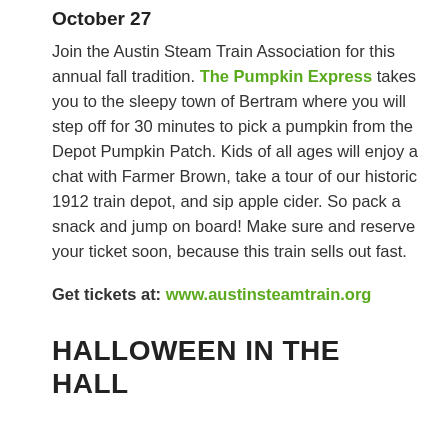October 27
Join the Austin Steam Train Association for this annual fall tradition. The Pumpkin Express takes you to the sleepy town of Bertram where you will step off for 30 minutes to pick a pumpkin from the Depot Pumpkin Patch. Kids of all ages will enjoy a chat with Farmer Brown, take a tour of our historic 1912 train depot, and sip apple cider. So pack a snack and jump on board! Make sure and reserve your ticket soon, because this train sells out fast.
Get tickets at: www.austinsteamtrain.org
HALLOWEEN IN THE HALL